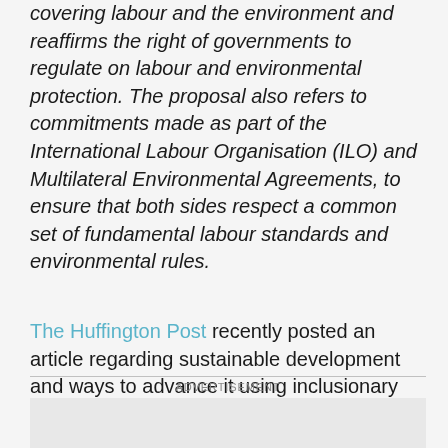covering labour and the environment and reaffirms the right of governments to regulate on labour and environmental protection. The proposal also refers to commitments made as part of the International Labour Organisation (ILO) and Multilateral Environmental Agreements, to ensure that both sides respect a common set of fundamental labour standards and environmental rules.
The Huffington Post recently posted an article regarding sustainable development and ways to advance it using inclusionary initiatives.
ADVERTISEMENT